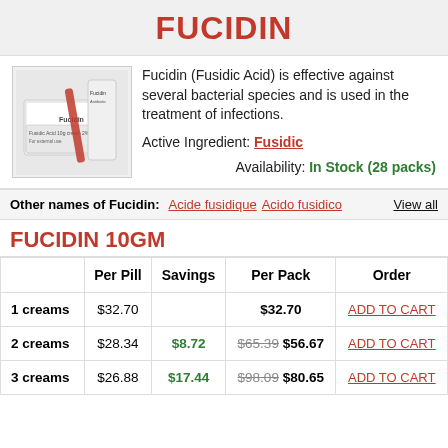FUCIDIN
Fucidin (Fusidic Acid) is effective against several bacterial species and is used in the treatment of infections.

Active Ingredient: Fusidic

Availability: In Stock (28 packs)
Other names of Fucidin: Acide fusidique  Acido fusidico    View all
FUCIDIN 10GM
|  | Per Pill | Savings | Per Pack | Order |
| --- | --- | --- | --- | --- |
| 1 creams | $32.70 |  | $32.70 | ADD TO CART |
| 2 creams | $28.34 | $8.72 | $65.39 $56.67 | ADD TO CART |
| 3 creams | $26.88 | $17.44 | $98.09 $80.65 | ADD TO CART |